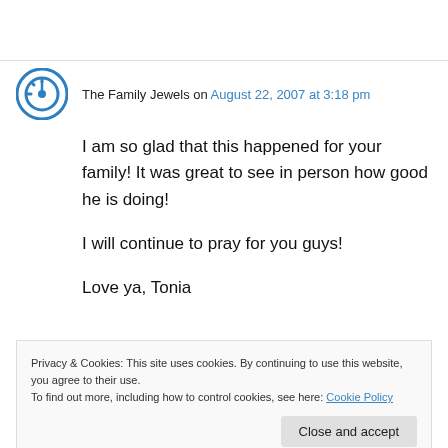The Family Jewels on August 22, 2007 at 3:18 pm
I am so glad that this happened for your family! It was great to see in person how good he is doing!

I will continue to pray for you guys!

Love ya, Tonia
Privacy & Cookies: This site uses cookies. By continuing to use this website, you agree to their use.
To find out more, including how to control cookies, see here: Cookie Policy